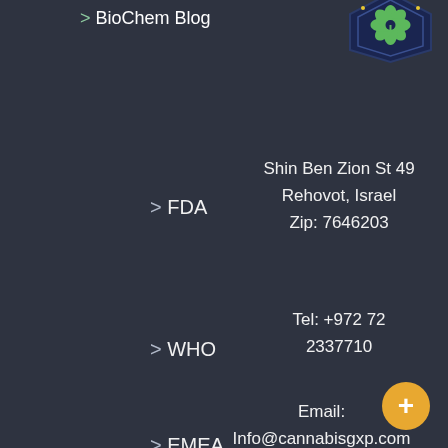> BioChem Blog
[Figure (logo): Cannabis GXP badge/seal logo with cannabis leaf, dark blue hexagonal shape with gold/green accents]
> FDA
Shin Ben Zion St 49
Rehovot, Israel
Zip: 7646203
> WHO
Tel: +972 72 2337710
> EMEA
Email:
Info@cannabisgxp.com
> ISO